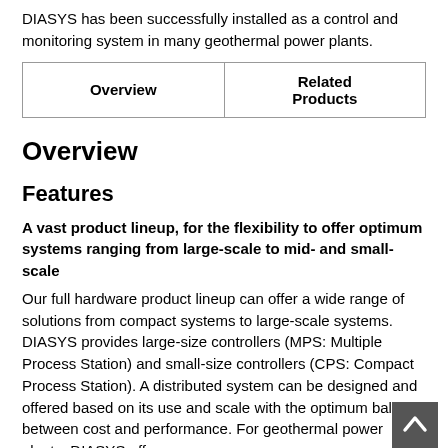DIASYS has been successfully installed as a control and monitoring system in many geothermal power plants.
| Overview | Related Products |
| --- | --- |
Overview
Features
A vast product lineup, for the flexibility to offer optimum systems ranging from large-scale to mid- and small-scale
Our full hardware product lineup can offer a wide range of solutions from compact systems to large-scale systems. DIASYS provides large-size controllers (MPS: Multiple Process Station) and small-size controllers (CPS: Compact Process Station). A distributed system can be designed and offered based on its use and scale with the optimum balance between cost and performance. For geothermal power plants, DIASYS offers